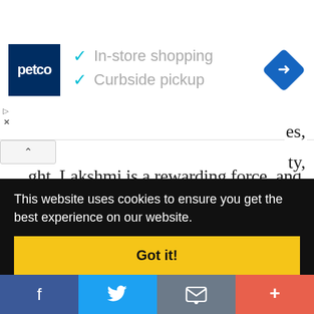[Figure (screenshot): Petco advertisement banner showing logo, checkmarks for 'In-store shopping' and 'Curbside pickup', and a navigation/directions diamond icon on the right.]
ght. Lakshmi is a rewarding force, and Bhudevi the punishing one. Together they ensure the righteous enforcement of karma and dharma. While people worship Lakshmi out of love and devotion, they worship Bhudevi out of fear and ...es, ...ty,
[Figure (screenshot): Cookie consent overlay banner with text 'This website uses cookies to ensure you get the best experience on our website.' and a yellow 'Got it!' button.]
[Figure (screenshot): Social sharing bar at the bottom with Facebook, Twitter, email, and more (+) buttons.]